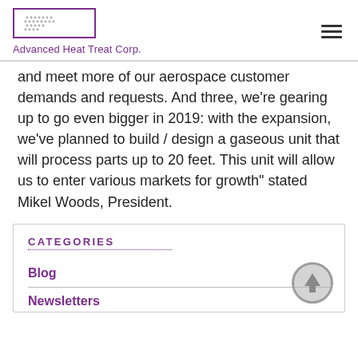Advanced Heat Treat Corp.
and meet more of our aerospace customer demands and requests. And three, we're gearing up to go even bigger in 2019: with the expansion, we've planned to build / design a gaseous unit that will process parts up to 20 feet. This unit will allow us to enter various markets for growth" stated Mikel Woods, President.
CATEGORIES
Blog
Newsletters